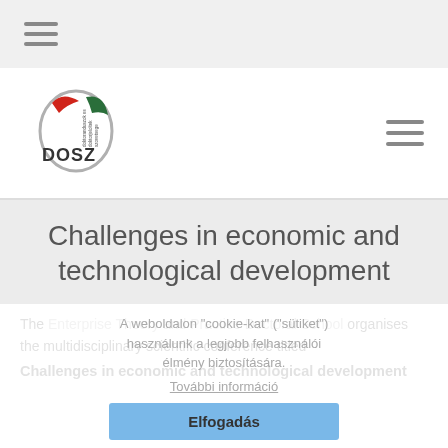≡ (hamburger menu)
[Figure (logo): DOSZ logo with red, white, green swoosh and text 'DOSZ doktoranduszok es doktorjeloltek szovetsege']
Challenges in economic and technological development
A weboldalon "cookie-kat" ("sütiket") használunk a legjobb felhasználói élmény biztosítására.
További információ
Elfogadás
The Enterprise Theory and Practice Doctoral School organises the multidisciplinary scientific conference titled
Challenges in economic and technological development
for PhD students and young researchers